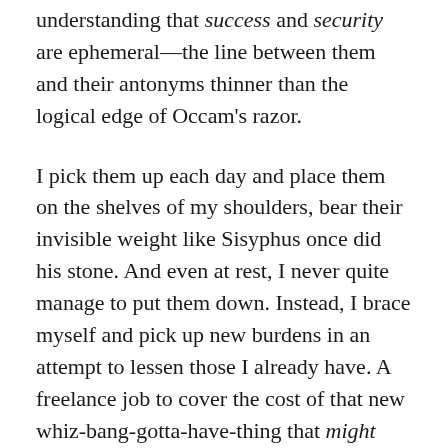understanding that success and security are ephemeral—the line between them and their antonyms thinner than the logical edge of Occam's razor.
I pick them up each day and place them on the shelves of my shoulders, bear their invisible weight like Sisyphus once did his stone. And even at rest, I never quite manage to put them down. Instead, I brace myself and pick up new burdens in an attempt to lessen those I already have. A freelance job to cover the cost of that new whiz-bang-gotta-have-thing that might make life easier, safer, better, or more pleasing. A relationship that should make me feel less vulnerable. And in these things I put my trust, though they're as costly and as ineffectual as Maginot Lines. The peace I crave is not in them, and yet I soldier on, dragging them behind me, leaving